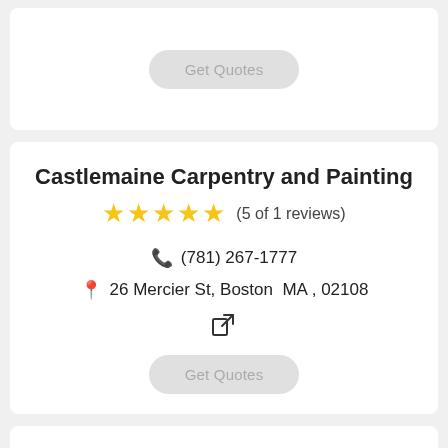[Figure (other): Get Quotes button (grayed out) at top of page, partially visible card]
Castlemaine Carpentry and Painting
★★★★★ (5 of 1 reviews)
☎ (781) 267-1777
📍 26 Mercier St, Boston  MA , 02108
External link icon
[Figure (other): Get Quotes button (grayed out)]
TJM Construction
★★★★★ (5 of 1 reviews)
☎ (617) 285-3839